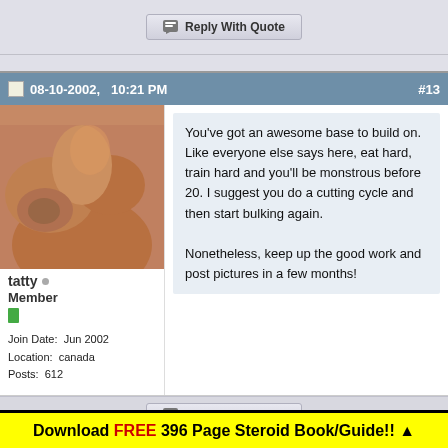Reply With Quote
08-10-2002,  10:21 PM  #13
[Figure (photo): Muscular person showing tattooed arm, used as forum avatar]
tatty  Member
Join Date:  Jun 2002
Location:  canada
Posts:  612
You've got an awesome base to build on. Like everyone else says here, eat hard, train hard and you'll be monstrous before 20. I suggest you do a cutting cycle and then start bulking again.

Nonetheless, keep up the good work and post pictures in a few months!
Reply With Quote
Download FREE 396 Page Steroid Book/Guide!! ▲